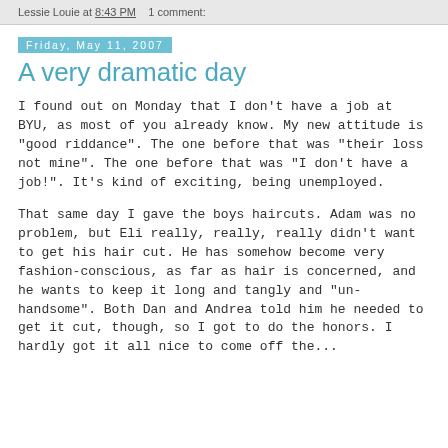Lessie Louie at 8:43 PM   1 comment:
Friday, May 11, 2007
A very dramatic day
I found out on Monday that I don't have a job at BYU, as most of you already know. My new attitude is "good riddance". The one before that was "their loss not mine". The one before that was "I don't have a job!". It's kind of exciting, being unemployed.
That same day I gave the boys haircuts. Adam was no problem, but Eli really, really, really didn't want to get his hair cut. He has somehow become very fashion-conscious, as far as hair is concerned, and he wants to keep it long and tangly and "un-handsome". Both Dan and Andrea told him he needed to get it cut, though, so I got to do the honors. I hardly got it all nice to come off the...